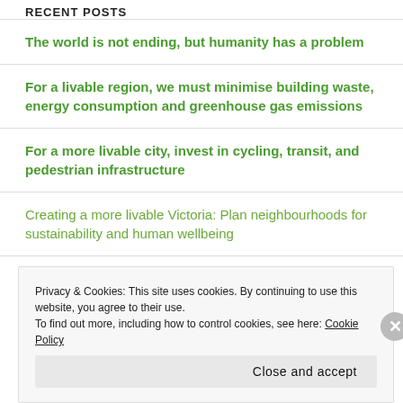RECENT POSTS
The world is not ending, but humanity has a problem
For a livable region, we must minimise building waste, energy consumption and greenhouse gas emissions
For a more livable city, invest in cycling, transit, and pedestrian infrastructure
Creating a more livable Victoria: Plan neighbourhoods for sustainability and human wellbeing
What a legacy! Thank you, fossil fuel industry
Privacy & Cookies: This site uses cookies. By continuing to use this website, you agree to their use.
To find out more, including how to control cookies, see here: Cookie Policy
Close and accept